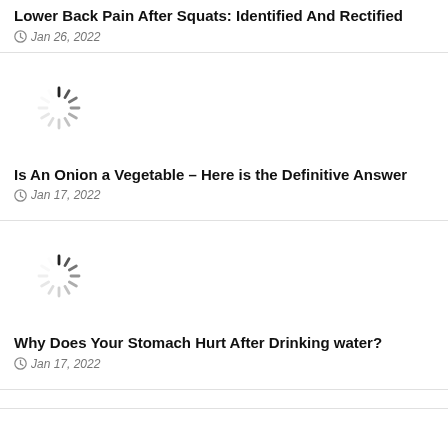Lower Back Pain After Squats: Identified And Rectified
Jan 26, 2022
[Figure (other): Loading spinner / image placeholder]
Is An Onion a Vegetable – Here is the Definitive Answer
Jan 17, 2022
[Figure (other): Loading spinner / image placeholder]
Why Does Your Stomach Hurt After Drinking water?
Jan 17, 2022